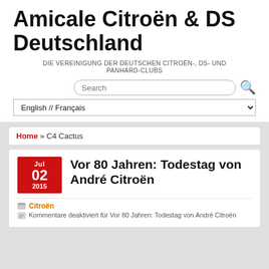Amicale Citroën & DS Deutschland
DIE VEREINIGUNG DER DEUTSCHEN CITROËN-, DS- UND PANHARD-CLUBS
Search
English // Français
Home » C4 Cactus
Vor 80 Jahren: Todestag von André Citroën
Jul 02 2015
Citroën
Kommentare deaktiviert für Vor 80 Jahren: Todestag von André Citroën